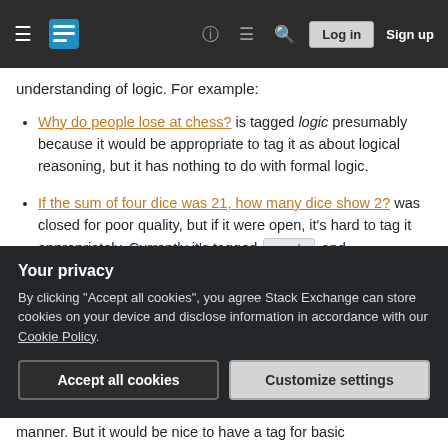Stack Exchange navigation bar with Log in and Sign up buttons
understanding of logic. For example:
Why do people lose at chess? is tagged logic presumably because it would be appropriate to tag it as about logical reasoning, but it has nothing to do with formal logic.
If the sum of four dice was 21, how many dice show 2? was closed for poor quality, but if it were open, it's hard to tag it appropriately. Currently it's tagged puzzle and discrete-mathematics, neither of which seem very appropriate. Really the question is most
Your privacy
By clicking "Accept all cookies", you agree Stack Exchange can store cookies on your device and disclose information in accordance with our Cookie Policy.
manner. But it would be nice to have a tag for basic